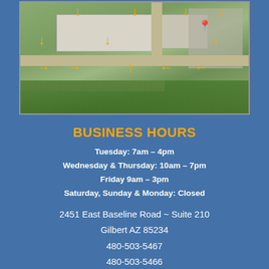[Figure (map): Aerial satellite map of office building with orange directional arrows overlaid, showing a commercial building with parking lot. A red location pin is visible in the upper right area.]
BUSINESS HOURS
Tuesday: 7am – 4pm
Wednesday & Thursday: 10am – 7pm
Friday 9am – 3pm
Saturday, Sunday & Monday: Closed
2451 East Baseline Road ~ Suite 210
Gilbert AZ 85234
480-503-5467
480-503-5466
info@drritapeck.com